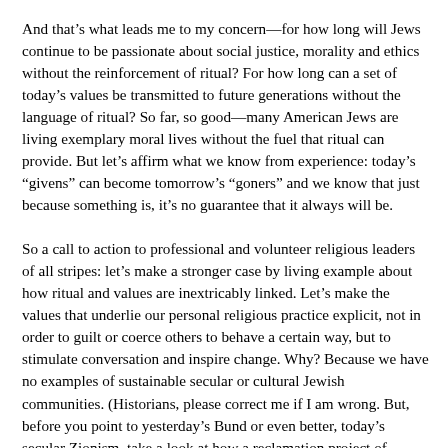And that’s what leads me to my concern—for how long will Jews continue to be passionate about social justice, morality and ethics without the reinforcement of ritual? For how long can a set of today’s values be transmitted to future generations without the language of ritual? So far, so good—many American Jews are living exemplary moral lives without the fuel that ritual can provide. But let’s affirm what we know from experience: today’s “givens” can become tomorrow’s “goners” and we know that just because something is, it’s no guarantee that it always will be.
So a call to action to professional and volunteer religious leaders of all stripes: let’s make a stronger case by living example about how ritual and values are inextricably linked. Let’s make the values that underlie our personal religious practice explicit, not in order to guilt or coerce others to behave a certain way, but to stimulate conversation and inspire change. Why? Because we have no examples of sustainable secular or cultural Jewish communities. (Historians, please correct me if I am wrong. But, before you point to yesterday’s Bund or even better, today’s secular Zionism, take a look at how a reclamation project of religious texts, tunes and traditions is occurring among “secular” Israelis today.) And a call